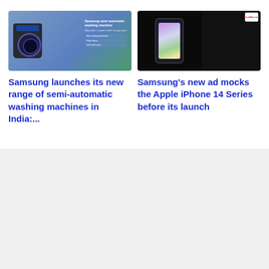[Figure (photo): Samsung semi automatic washing machine advertisement image showing a woman loading laundry with the washing machine, blue gradient background with text overlay]
[Figure (photo): Samsung Galaxy Z Flip phone promotional image against dark/black background, split into two panels showing the phone and a dark background. Small logo badge visible top right.]
Samsung launches its new range of semi-automatic washing machines in India:...
Samsung's new ad mocks the Apple iPhone 14 Series before its launch